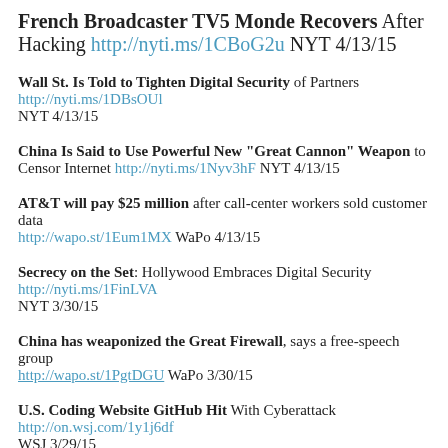French Broadcaster TV5 Monde Recovers After Hacking http://nyti.ms/1CBoG2u NYT 4/13/15
Wall St. Is Told to Tighten Digital Security of Partners http://nyti.ms/1DBsOUl NYT 4/13/15
China Is Said to Use Powerful New "Great Cannon" Weapon to Censor Internet http://nyti.ms/1Nyv3hF NYT 4/13/15
AT&T will pay $25 million after call-center workers sold customer data http://wapo.st/1Eum1MX WaPo 4/13/15
Secrecy on the Set: Hollywood Embraces Digital Security http://nyti.ms/1FinLVA NYT 3/30/15
China has weaponized the Great Firewall, says a free-speech group http://wapo.st/1PgtDGU WaPo 3/30/15
U.S. Coding Website GitHub Hit With Cyberattack http://on.wsj.com/1y1j6df WSJ 3/29/15
Slack Gets Hacked as Start-Up Technologies Become Targets